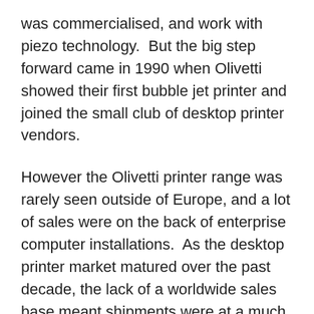was commercialised, and work with piezo technology.  But the big step forward came in 1990 when Olivetti showed their first bubble jet printer and joined the small club of desktop printer vendors.
However the Olivetti printer range was rarely seen outside of Europe, and a lot of sales were on the back of enterprise computer installations.  As the desktop printer market matured over the past decade, the lack of a worldwide sales base meant shipments were at a much lower level compared to their competitors with corresponding higher costs.  And sometimes the stylish and quirky Italian printer designs didn't appeal to markets used to the more conservative looking offerings of HP and Japanese vendors.